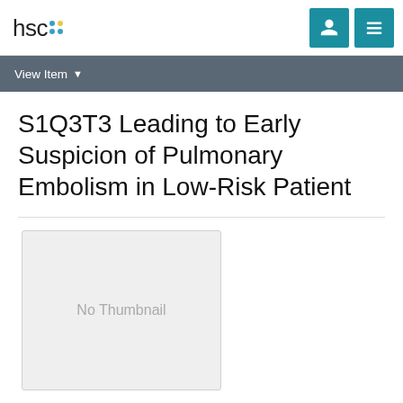hsc [logo with dots] | [user icon] [menu icon]
View Item ▼
S1Q3T3 Leading to Early Suspicion of Pulmonary Embolism in Low-Risk Patient
[Figure (other): No Thumbnail placeholder image box with light gray background]